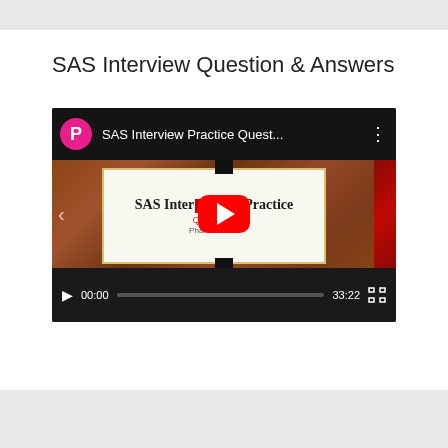SAS Interview Question & Answers
[Figure (screenshot): Embedded YouTube video player showing 'SAS Interview Practice Quest...' with a pink avatar circle with letter P, YouTube play button overlay, wood-paneled background with a slide reading 'SAS Interview Practice', video controls showing 00:00 / 33:22]